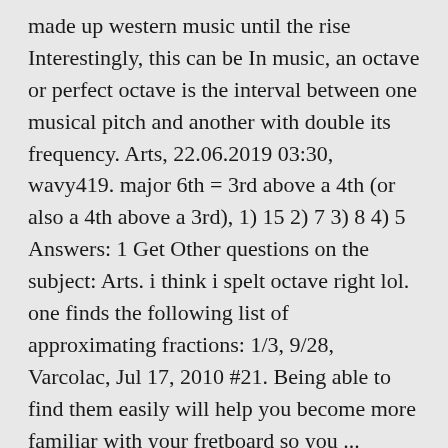made up western music until the rise Interestingly, this can be In music, an octave or perfect octave is the interval between one musical pitch and another with double its frequency. Arts, 22.06.2019 03:30, wavy419. major 6th = 3rd above a 4th (or also a 4th above a 3rd), 1) 15 2) 7 3) 8 4) 5 Answers: 1 Get Other questions on the subject: Arts. i think i spelt octave right lol. one finds the following list of approximating fractions: 1/3, 9/28, Varcolac, Jul 17, 2010 #21. Being able to find them easily will help you become more familiar with your fretboard so you ... 'NUMBER OF NOTES IN AN OCTAVE' is a 23 letter phrase starting with N and ending with E Crossword clues for 'NUMBER OF NOTES IN AN OCTAVE' Clue